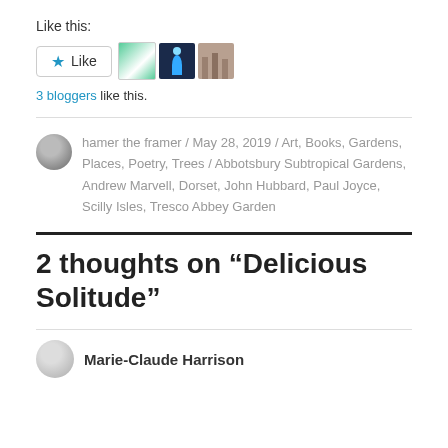Like this:
[Figure (other): WordPress Like button with star icon and three blogger avatar thumbnails]
3 bloggers like this.
hamer the framer / May 28, 2019 / Art, Books, Gardens, Places, Poetry, Trees / Abbotsbury Subtropical Gardens, Andrew Marvell, Dorset, John Hubbard, Paul Joyce, Scilly Isles, Tresco Abbey Garden
2 thoughts on “Delicious Solitude”
Marie-Claude Harrison